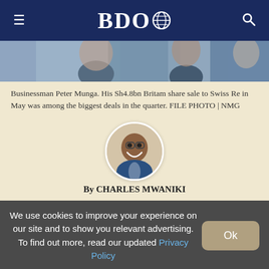BDO
[Figure (photo): Cropped photo showing people in suits, partially visible, dark background]
Businessman Peter Munga. His Sh4.8bn Britam share sale to Swiss Re in May was among the biggest deals in the quarter. FILE PHOTO | NMG
[Figure (photo): Circular avatar portrait of Charles Mwaniki, smiling man with glasses]
By CHARLES MWANIKI
We use cookies to improve your experience on our site and to show you relevant advertising. To find out more, read our updated Privacy Policy